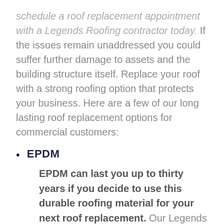schedule a roof replacement appointment with a Legends Roofing contractor today. If the issues remain unaddressed you could suffer further damage to assets and the building structure itself. Replace your roof with a strong roofing option that protects your business. Here are a few of our long lasting roof replacement options for commercial customers:
EPDM
EPDM can last you up to thirty years if you decide to use this durable roofing material for your next roof replacement. Our Legends Roofing contractors are highly skilled and more than certified to install this great roofing material for you. You can have EPDM roofing installed as a replacement in the color of your choice too. To